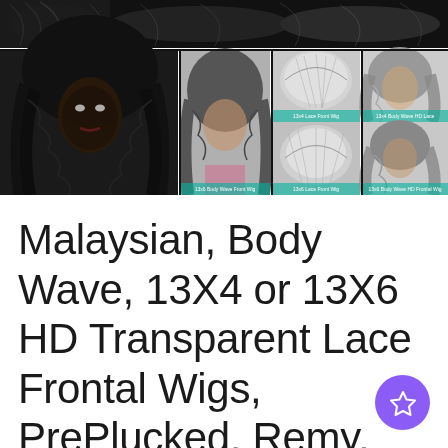[Figure (photo): Product listing image collage showing Malaysian body wave lace frontal wigs on models, including front views, back/top views of wigs, and side views with wavy hair. Multiple panels arranged in a grid: large portrait on left, medium panels in center, cap views top right, styled views bottom right.]
Malaysian, Body Wave, 13X4 or 13X6 HD Transparent Lace Frontal Wigs, PrePlucked, Remy, Human Hair, 8 - 34 Inches